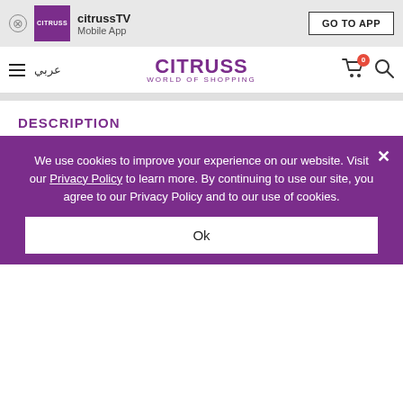citrussTV Mobile App — GO TO APP
CITRUSS WORLD OF SHOPPING — عربي navigation bar
DESCRIPTION
[Figure (illustration): Animated/manga-style illustration of four young characters with colorful hair (teal, black, blonde, auburn) posing against a blue background with confetti]
We use cookies to improve your experience on our website. Visit our Privacy Policy to learn more. By continuing to use our site, you agree to our Privacy Policy and to our use of cookies.
Ok